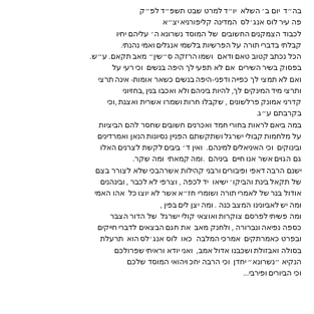Handwritten Hebrew text — a letter/document page with multiple paragraphs in Hebrew script, written in cursive handwriting. The text discusses topics related to community, learning, and personal matters in Hebrew.